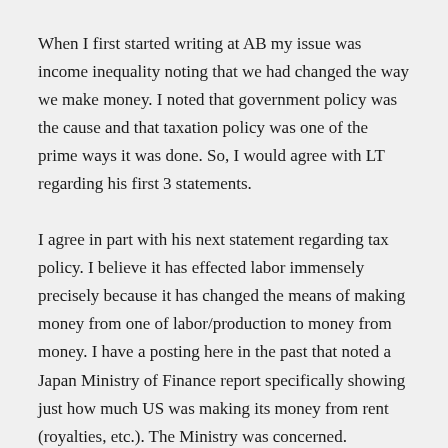When I first started writing at AB my issue was income inequality noting that we had changed the way we make money. I noted that government policy was the cause and that taxation policy was one of the prime ways it was done. So, I would agree with LT regarding his first 3 statements.
I agree in part with his next statement regarding tax policy. I believe it has effected labor immensely precisely because it has changed the means of making money from one of labor/production to money from money. I have a posting here in the past that noted a Japan Ministry of Finance report specifically showing just how much US was making its money from rent (royalties, etc.). The Ministry was concerned.